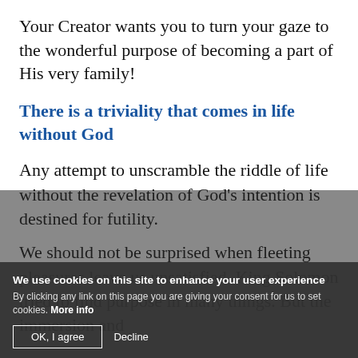Your Creator wants you to turn your gaze to the wonderful purpose of becoming a part of His very family!
There is a triviality that comes in life without God
Any attempt to unscramble the riddle of life without the revelation of God's intention is destined for futility.
We should not be surprised when fleeting pleasures leave us unsatisfied. King Solomon tried to find purpose in many things. But the immersion and
We use cookies on this site to enhance your user experience
By clicking any link on this page you are giving your consent for us to set cookies. More info
OK, I agree
Decline